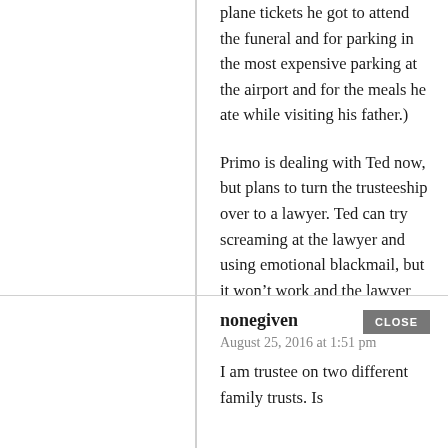plane tickets he got to attend the funeral and for parking in the most expensive parking at the airport and for the meals he ate while visiting his father.)
Primo is dealing with Ted now, but plans to turn the trusteeship over to a lawyer. Ted can try screaming at the lawyer and using emotional blackmail, but it won’t work and the lawyer will just charge the trust. (The screaming and the emotional blackmail have not worked on Primo, either – he grew up with Sly and Doris, so Ted is small potatoes, but it’s still a pain in the neck.)
nonegiven
August 25, 2016 at 1:51 pm
I am trustee on two different family trusts. Is